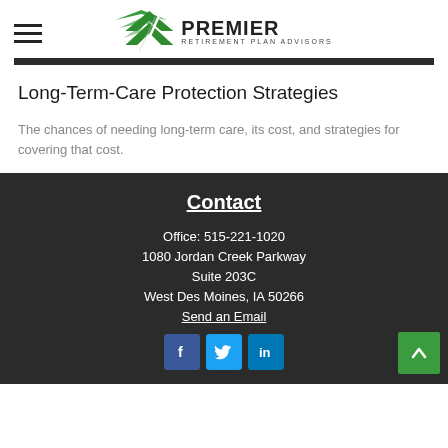[Figure (logo): Premier Retirement Plan Advisors logo with green arrow/chevron icon and text]
Long-Term-Care Protection Strategies
The chances of needing long-term care, its cost, and strategies for covering that cost.
Contact
Office: 515-221-1020
1080 Jordan Creek Parkway
Suite 203C
West Des Moines, IA 50266
Send an Email